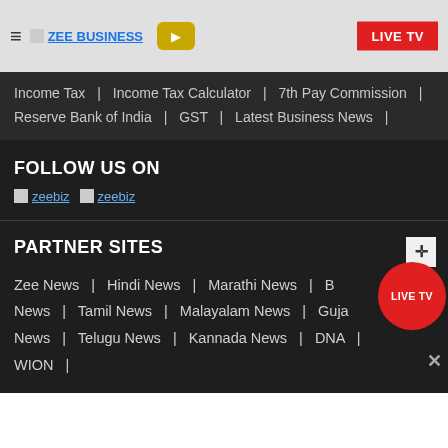ZEE BUSINESS | LIVE TV
Income Tax | Income Tax Calculator | 7th Pay Commission | Reserve Bank of India | GST | Latest Business News |
FOLLOW US ON
[Figure (logo): zeebiz social media icons (two logo images)]
PARTNER SITES
Zee News | Hindi News | Marathi News | B... News | Tamil News | Malayalam News | Guja... News | Telugu News | Kannada News | DNA | WION |